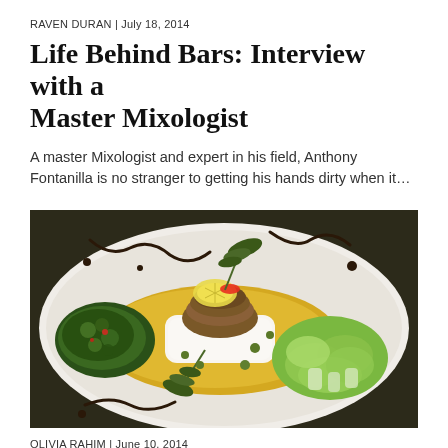RAVEN DURAN | July 18, 2014
Life Behind Bars: Interview with a Master Mixologist
A master Mixologist and expert in his field, Anthony Fontanilla is no stranger to getting his hands dirty when it…
[Figure (photo): A plated dish featuring a piece of white fish topped with sliced mushrooms and garnishes, served in a golden sauce with bok choy on the right, herb salad on the left, and capers scattered throughout, on a white plate with balsamic drizzle.]
OLIVIA RAHIM | June 10, 2014
Taste of Mediter...